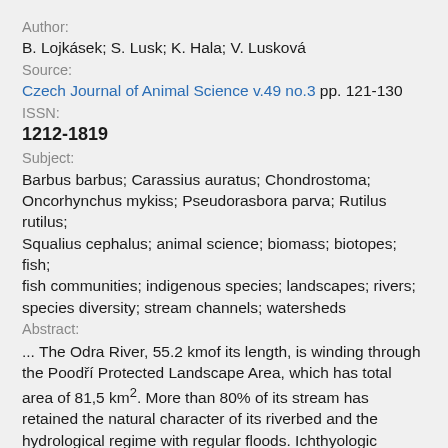Author:
B. Lojkásek; S. Lusk; K. Hala; V. Lusková
Source:
Czech Journal of Animal Science v.49 no.3 pp. 121-130
ISSN:
1212-1819
Subject:
Barbus barbus; Carassius auratus; Chondrostoma; Oncorhynchus mykiss; Pseudorasbora parva; Rutilus rutilus; Squalius cephalus; animal science; biomass; biotopes; fish; fish communities; indigenous species; landscapes; rivers; species diversity; stream channels; watersheds
Abstract:
... The Odra River, 55.2 kmof its length, is winding through the Poodří Protected Landscape Area, which has total area of 81,5 km2. More than 80% of its stream has retained the natural character of its riverbed and the hydrological regime with regular floods. Ichthyologic research was carried out in the period 1997–2001. It took